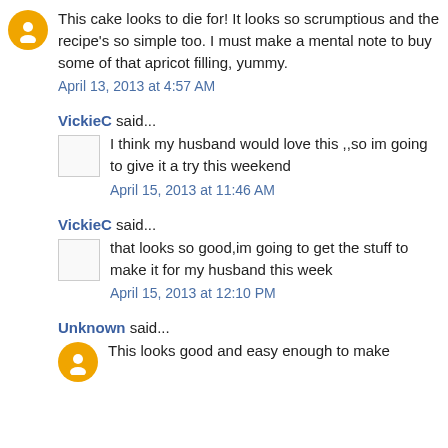This cake looks to die for! It looks so scrumptious and the recipe's so simple too. I must make a mental note to buy some of that apricot filling, yummy.
April 13, 2013 at 4:57 AM
VickieC said...
I think my husband would love this ,,so im going to give it a try this weekend
April 15, 2013 at 11:46 AM
VickieC said...
that looks so good,im going to get the stuff to make it for my husband this week
April 15, 2013 at 12:10 PM
Unknown said...
This looks good and easy enough to make